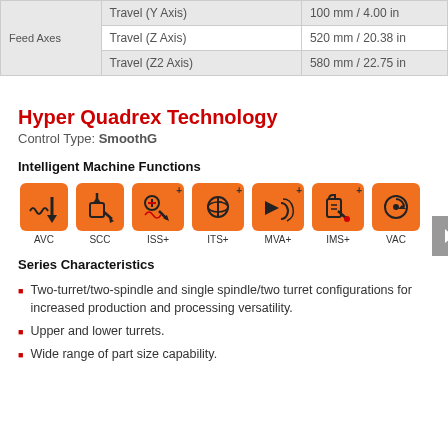| Feed Axes |  |  |
| --- | --- | --- |
| Feed Axes | Travel (Y Axis) | 100 mm / 4.00 in |
|  | Travel (Z Axis) | 520 mm / 20.38 in |
|  | Travel (Z2 Axis) | 580 mm / 22.75 in |
Hyper Quadrex Technology
Control Type: SmoothG
Intelligent Machine Functions
[Figure (infographic): Seven orange square icons representing intelligent machine functions: AVC, SCC, ISS+, ITS+, MVA+, IMS+, VAC]
Series Characteristics
Two-turret/two-spindle and single spindle/two turret configurations for increased production and processing versatility.
Upper and lower turrets.
Wide range of part size capability.